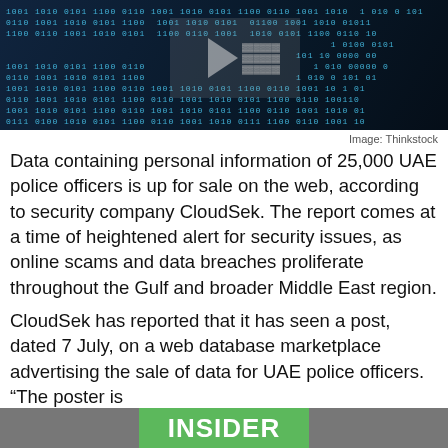[Figure (photo): Dark cybersecurity themed image with binary code and digital data patterns on a dark blue background, with a partially visible logo or chevron symbol in the center-left area.]
Image: Thinkstock
Data containing personal information of 25,000 UAE police officers is up for sale on the web, according to security company CloudSek. The report comes at a time of heightened alert for security issues, as online scams and data breaches proliferate throughout the Gulf and broader Middle East region.
CloudSek has reported that it has seen a post, dated 7 July, on a web database marketplace advertising the sale of data for UAE police officers. “The poster is selling ‘UAE Full(25K) police info’ for $500 and has shared 9 samples to support their claims. In response to this post several forum members have shown interest in buying [something] according to the report.…
[Figure (logo): Green INSIDER badge/banner overlaid at the bottom of the page]